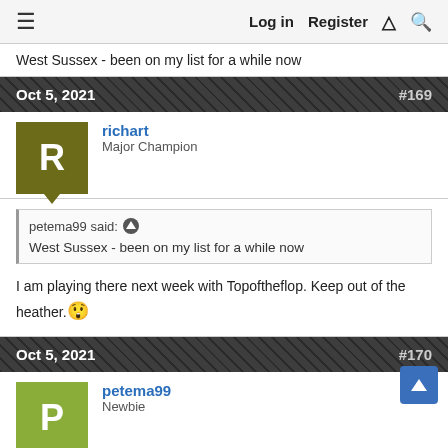Log in  Register
West Sussex - been on my list for a while now
Oct 5, 2021  #169
richart
Major Champion
petema99 said: ↑
West Sussex - been on my list for a while now
I am playing there next week with Topoftheflop. Keep out of the heather. 😮
Oct 5, 2021  #170
petema99
Newbie